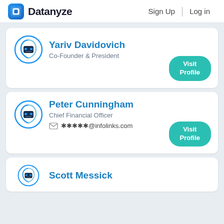Datanyze   Sign Up   Log in
Yariv Davidovich
Co-Founder & President
Visit Profile
Peter Cunningham
Chief Financial Officer
*****@infolinks.com
Visit Profile
Scott Messick